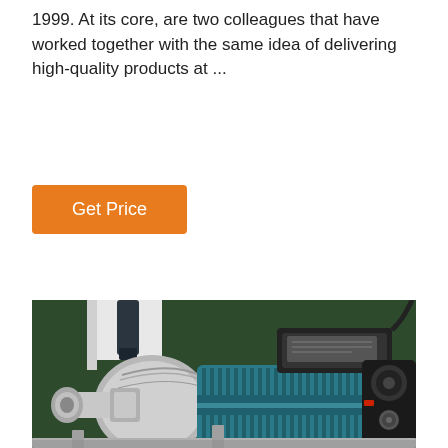1999. At its core, are two colleagues that have worked together with the same idea of delivering high-quality products at ...
Get Price
[Figure (photo): Close-up photo of an industrial water pump with a silver/chrome stainless steel pump head on the left and a teal/blue electric motor body with black motor housing and control box on top, set against a dark green background.]